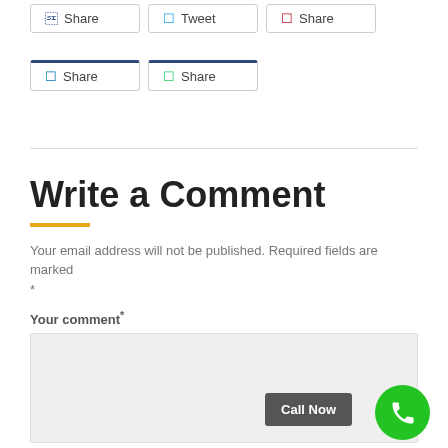[Figure (screenshot): Row of social share buttons: Share (Facebook), Tweet, Share (Pinterest)]
[Figure (screenshot): Row of social share buttons: Share (LinkedIn), Share (WhatsApp) with blue top border accent]
Write a Comment
Your email address will not be published. Required fields are marked *
Your comment*
[Figure (screenshot): Comment textarea input field (empty, light gray background)]
Call Now